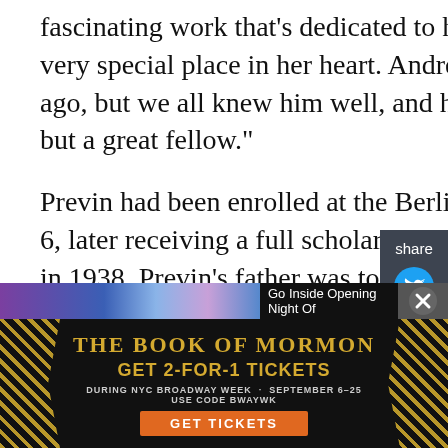fascinating work that's dedicated to her, and, so it's a piece that has a very special place in her heart. André sadly passed away a few years ago, but we all knew him well, and he was not only a great musician but a great fellow."
Previn had been enrolled at the Berlin Conservatory since the age of 6, later receiving a full scholarship in recognition of his abilities. But in 1938, Previn's father was told that his son was no longer welcome there on the grounds that he was Jewish.Bottom of Form
[Figure (screenshot): Share sidebar with Twitter and Facebook icons on dark background]
[Figure (screenshot): Advertisement banner for The Book of Mormon musical: GET 2-FOR-1 TICKETS DURING NYC BROADWAY WEEK · SEPTEMBER 6-25 USE CODE BWAYWK · GET TICKETS]